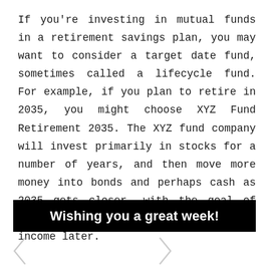If you're investing in mutual funds in a retirement savings plan, you may want to consider a target date fund, sometimes called a lifecycle fund. For example, if you plan to retire in 2035, you might choose XYZ Fund Retirement 2035. The XYZ fund company will invest primarily in stocks for a number of years, and then move more money into bonds and perhaps cash as 2035 gets closer, with the goal of achieving growth now to provide income later.
Wishing you a great week!